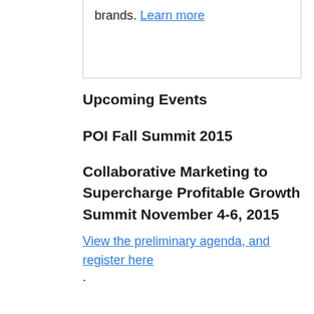brands. Learn more
Upcoming Events
POI Fall Summit 2015
Collaborative Marketing to Supercharge Profitable Growth Summit November 4-6, 2015
View the preliminary agenda, and register here.